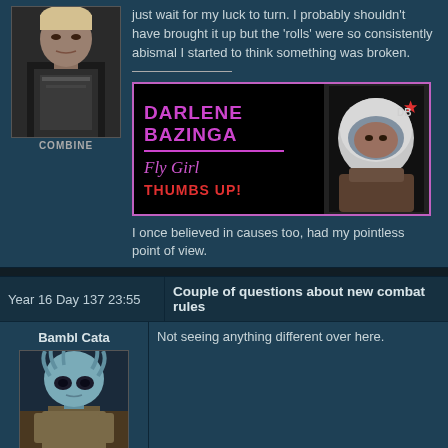[Figure (photo): Avatar photo of a person in armor with COMBINE label below]
just wait for my luck to turn. I probably shouldn't have brought it up but the 'rolls' were so consistently abismal I started to think something was broken.
[Figure (illustration): Signature banner: DARLENE BAZINGA / Fly Girl / THUMBS UP! with photo of person in helmet]
I once believed in causes too, had my pointless point of view.
Year 16 Day 137 23:55
Couple of questions about new combat rules
Bambl Cata
[Figure (illustration): Avatar of an alien creature with COMBINE label]
Not seeing anything different over here.